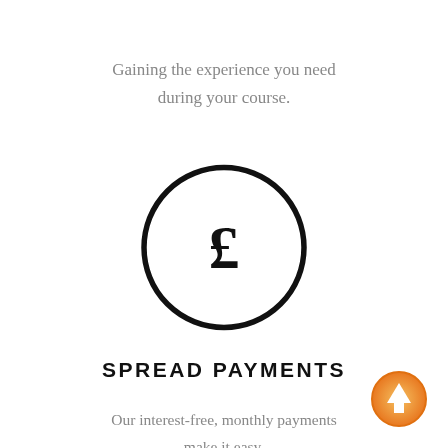Gaining the experience you need during your course.
[Figure (illustration): Circle icon with a pound sterling sign (£) in the center, drawn with a thick black outline.]
SPREAD PAYMENTS
Our interest-free, monthly payments make it easy.